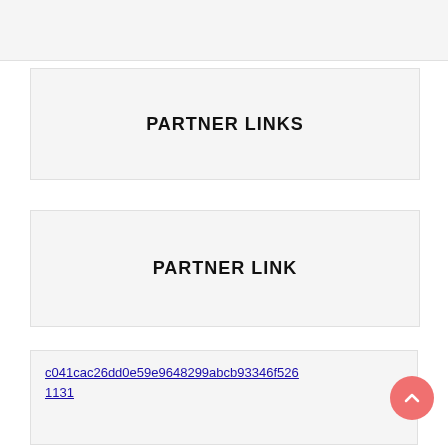[Figure (other): Top gray banner/header bar]
PARTNER LINKS
PARTNER LINK
c041cac26dd0e59e9648299abcb93346f526
1131